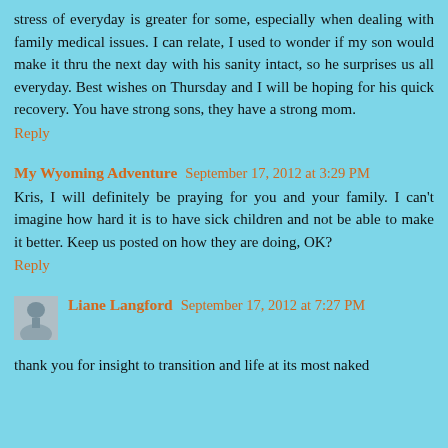stress of everyday is greater for some, especially when dealing with family medical issues. I can relate, I used to wonder if my son would make it thru the next day with his sanity intact, so he surprises us all everyday. Best wishes on Thursday and I will be hoping for his quick recovery. You have strong sons, they have a strong mom.
Reply
My Wyoming Adventure September 17, 2012 at 3:29 PM
Kris, I will definitely be praying for you and your family. I can't imagine how hard it is to have sick children and not be able to make it better. Keep us posted on how they are doing, OK?
Reply
Liane Langford September 17, 2012 at 7:27 PM
thank you for insight to transition and life at its most naked